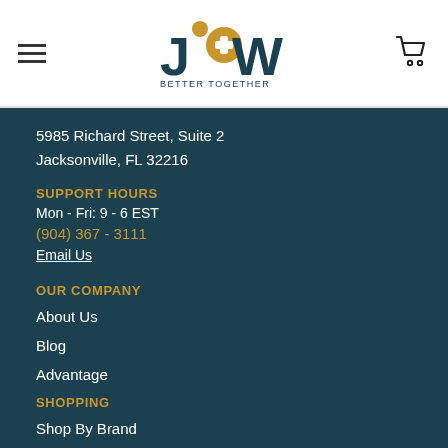J&W Better Together — navigation header with hamburger menu, logo, and cart icon
5985 Richard Street, Suite 2
Jacksonville, FL 32216
SUPPORT HOURS
Mon - Fri: 9 - 6 EST
(904) 367 - 3111
Email Us
OUR COMPANY
About Us
Blog
Advantage
SHOPPING
Shop By Brand
Featured Products